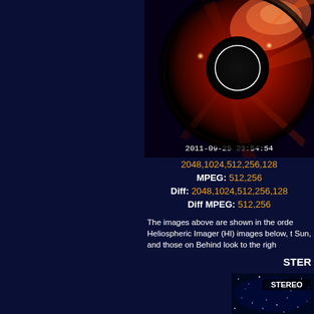[Figure (photo): Solar corona image in red/orange false color from STEREO coronagraph, showing the sun's corona with a circular occulter disk in center. Timestamp overlay reads 2011-09-25 23:54:54]
2011-09-25  23:54:54
2048,1024,512,256,128
MPEG: 512,256
Diff: 2048,1024,512,256,128
Diff MPEG: 512,256
The images above are shown in the orde... Heliospheric Imager (HI) images below, t... Sun, and those on Behind look to the righ...
STERE
[Figure (photo): STEREO space telescope image showing star field in blue tones with STEREO label overlay]